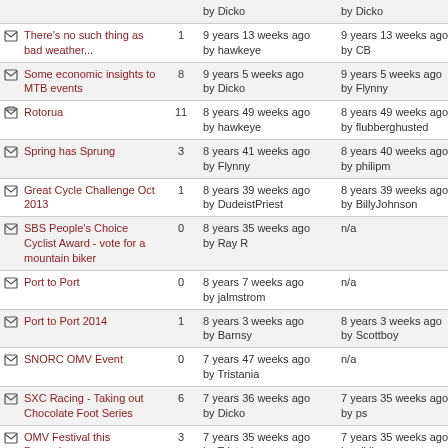| Topic | Replies | Created | Last reply |
| --- | --- | --- | --- |
| [icon] There's no such thing as bad weather... | 1 | 9 years 13 weeks ago by hawkeye | 9 years 13 weeks ago by CB |
| [icon] Some economic insights to MTB events | 8 | 9 years 5 weeks ago by Dicko | 9 years 5 weeks ago by Flynny |
| [icon] Rotorua | 11 | 8 years 49 weeks ago by hawkeye | 8 years 49 weeks ago by flubbberghusted |
| [icon] Spring has Sprung | 3 | 8 years 41 weeks ago by Flynny | 8 years 40 weeks ago by philipm |
| [icon] Great Cycle Challenge Oct 2013 | 1 | 8 years 39 weeks ago by DudeistPriest | 8 years 39 weeks ago by BillyJohnson |
| [icon] SBS People's Choice Cyclist Award - vote for a mountain biker | 0 | 8 years 35 weeks ago by Ray R | n/a |
| [icon] Port to Port | 0 | 8 years 7 weeks ago by jalmstrom | n/a |
| [icon] Port to Port 2014 | 1 | 8 years 3 weeks ago by Barnsy | 8 years 3 weeks ago by Scottboy |
| [icon] SNORC OMV Event | 0 | 7 years 47 weeks ago by Tristania | n/a |
| [icon] SXC Racing - Taking out Chocolate Foot Series | 6 | 7 years 36 weeks ago by Dicko | 7 years 35 weeks ago by ps |
| [icon] OMV Festival this December | 3 | 7 years 35 weeks ago by Tristania | 7 years 35 weeks ago by sikllama |
| [icon] Sella Ronda | 5 | 7 years 34 weeks ago by staffe | 7 years 33 weeks ago by herzog |
| [icon] Convict training | 6 | 7 years 13 weeks ago by webby | 7 years 13 weeks ago by GAZZA |